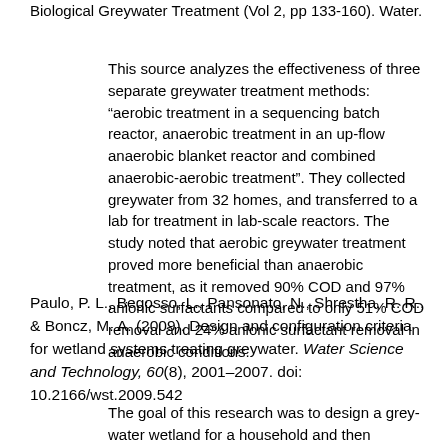Biological Greywater Treatment (Vol 2, pp 133-160). Water.
This source analyzes the effectiveness of three separate greywater treatment methods: “aerobic treatment in a sequencing batch reactor, anaerobic treatment in an up-flow anaerobic blanket reactor and combined anaerobic-aerobic treatment”. They collected greywater from 32 homes, and transferred to a lab for treatment in lab-scale reactors. The study noted that aerobic greywater treatment proved more beneficial than anaerobic treatment, as it removed 90% COD and 97% anionic surfactants compared to only 51% COD removal and 24% anionic surfactant removal in anaerobic conditions.
Paulo, P. L., Begosso, L., Pansonato, N., Shrestha, R. R., & Boncz, M. A. (2009). Design and configuration criteria for wetland systems treating greywater. Water Science and Technology, 60(8), 2001–2007. doi: 10.2166/wst.2009.542
The goal of this research was to design a grey-water wetland for a household and then determine whether the